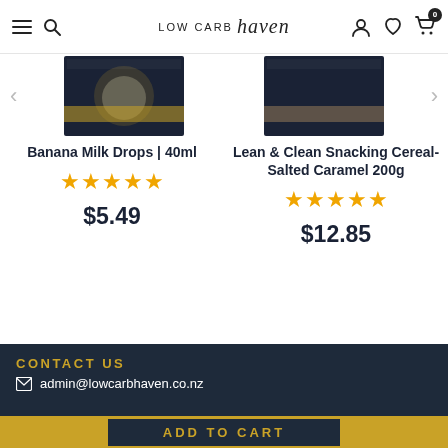LOW CARB Haven
[Figure (screenshot): Cropped product images of two items in dark navy packaging with gold stripe, with left and right navigation arrows]
Banana Milk Drops | 40ml
★★★★★
$5.49
Lean & Clean Snacking Cereal- Salted Caramel 200g
★★★★★
$12.85
CONTACT US
admin@lowcarbhaven.co.nz
ADD TO CART